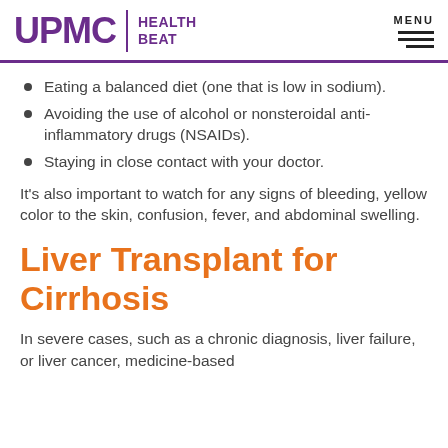UPMC HEALTH BEAT
Eating a balanced diet (one that is low in sodium).
Avoiding the use of alcohol or nonsteroidal anti-inflammatory drugs (NSAIDs).
Staying in close contact with your doctor.
It's also important to watch for any signs of bleeding, yellow color to the skin, confusion, fever, and abdominal swelling.
Liver Transplant for Cirrhosis
In severe cases, such as a chronic diagnosis, liver failure, or liver cancer, medicine-based